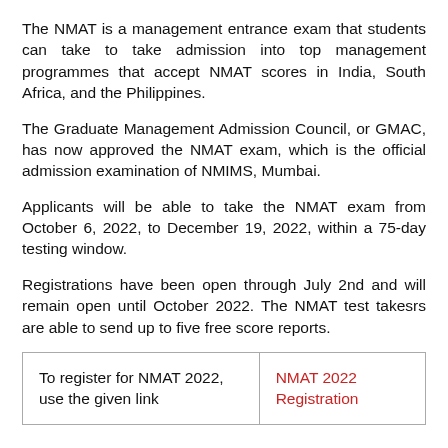The NMAT is a management entrance exam that students can take to take admission into top management programmes that accept NMAT scores in India, South Africa, and the Philippines.
The Graduate Management Admission Council, or GMAC, has now approved the NMAT exam, which is the official admission examination of NMIMS, Mumbai.
Applicants will be able to take the NMAT exam from October 6, 2022, to December 19, 2022, within a 75-day testing window.
Registrations have been open through July 2nd and will remain open until October 2022. The NMAT test takesrs are able to send up to five free score reports.
| To register for NMAT 2022, use the given link | NMAT 2022 Registration |